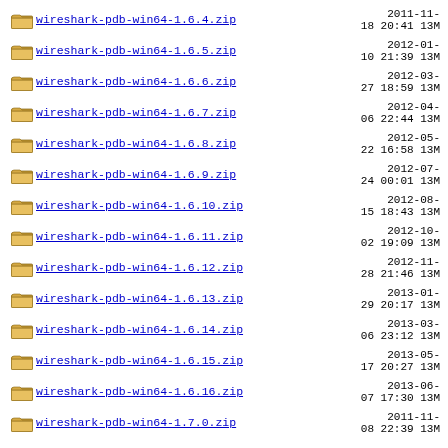wireshark-pdb-win64-1.6.4.zip  2011-11-18 20:41  13M
wireshark-pdb-win64-1.6.5.zip  2012-01-10 21:39  13M
wireshark-pdb-win64-1.6.6.zip  2012-03-27 18:59  13M
wireshark-pdb-win64-1.6.7.zip  2012-04-06 22:44  13M
wireshark-pdb-win64-1.6.8.zip  2012-05-22 16:58  13M
wireshark-pdb-win64-1.6.9.zip  2012-07-24 00:01  13M
wireshark-pdb-win64-1.6.10.zip  2012-08-15 18:43  13M
wireshark-pdb-win64-1.6.11.zip  2012-10-02 19:09  13M
wireshark-pdb-win64-1.6.12.zip  2012-11-28 21:46  13M
wireshark-pdb-win64-1.6.13.zip  2013-01-29 20:17  13M
wireshark-pdb-win64-1.6.14.zip  2013-03-06 23:12  13M
wireshark-pdb-win64-1.6.15.zip  2013-05-17 20:27  13M
wireshark-pdb-win64-1.6.16.zip  2013-06-07 17:30  13M
wireshark-pdb-win64-1.7.0.zip  2011-11-08 22:39  13M